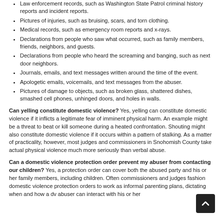Law enforcement records, such as Washington State Patrol criminal history reports and incident reports.
Pictures of injuries, such as bruising, scars, and torn clothing.
Medical records, such as emergency room reports and x-rays.
Declarations from people who saw what occurred, such as family members, friends, neighbors, and guests.
Declarations from people who heard the screaming and banging, such as next door neighbors.
Journals, emails, and text messages written around the time of the event.
Apologetic emails, voicemails, and text messages from the abuser.
Pictures of damage to objects, such as broken glass, shattered dishes, smashed cell phones, unhinged doors, and holes in walls.
Can yelling constitute domestic violence? Yes, yelling can constitute domestic violence if it inflicts a legitimate fear of imminent physical harm. An example might be a threat to beat or kill someone during a heated confrontation. Shouting might also constitute domestic violence if it occurs within a pattern of stalking. As a matter of practicality, however, most judges and commissioners in Snohomish County take actual physical violence much more seriously than verbal abuse.
Can a domestic violence protection order prevent my abuser from contacting our children? Yes, a protection order can cover both the abused party and his or her family members, including children. Often commissioners and judges fashion domestic violence protection orders to work as informal parenting plans, dictating when and how a dv abuser can interact with his or her